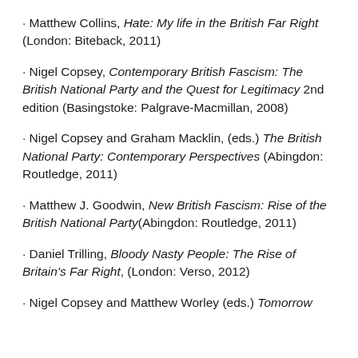· Matthew Collins, Hate: My life in the British Far Right (London: Biteback, 2011)
· Nigel Copsey, Contemporary British Fascism: The British National Party and the Quest for Legitimacy 2nd edition (Basingstoke: Palgrave-Macmillan, 2008)
· Nigel Copsey and Graham Macklin, (eds.) The British National Party: Contemporary Perspectives (Abingdon: Routledge, 2011)
· Matthew J. Goodwin, New British Fascism: Rise of the British National Party (Abingdon: Routledge, 2011)
· Daniel Trilling, Bloody Nasty People: The Rise of Britain's Far Right, (London: Verso, 2012)
· Nigel Copsey and Matthew Worley (eds.) Tomorrow